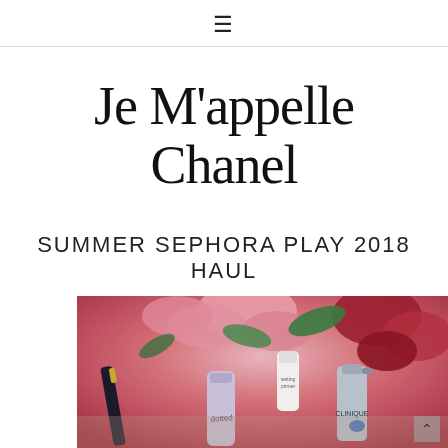≡
Je M'appelle Chanel
SUMMER SEPHORA PLAY 2018 HAUL
OCTOBER 1, 2018
[Figure (photo): Flatlay photo of various beauty/cosmetic products including mascaras, serums, and sprays held in hands, surrounded by pink flowers and green leaves in the background]